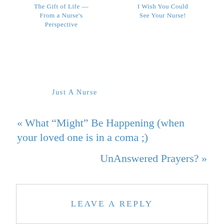The Gift of Life — From a Nurse's Perspective
I Wish You Could See Your Nurse!
Just A Nurse
« What “Might” Be Happening (when your loved one is in a coma ;)
UnAnswered Prayers? »
LEAVE A REPLY